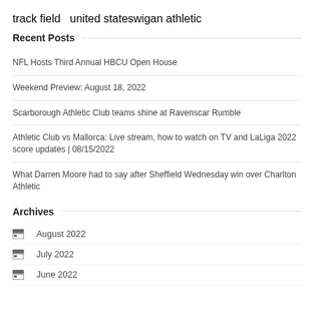track field  united states  wigan athletic
Recent Posts
NFL Hosts Third Annual HBCU Open House
Weekend Preview: August 18, 2022
Scarborough Athletic Club teams shine at Ravenscar Rumble
Athletic Club vs Mallorca: Live stream, how to watch on TV and LaLiga 2022 score updates | 08/15/2022
What Darren Moore had to say after Sheffield Wednesday win over Charlton Athletic
Archives
August 2022
July 2022
June 2022